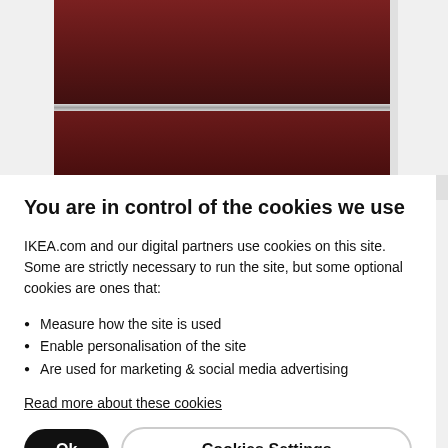[Figure (photo): Partial view of dark red/maroon kitchen cabinet drawers with silver handle, shown from a slightly angled perspective on a white background.]
You are in control of the cookies we use
IKEA.com and our digital partners use cookies on this site. Some are strictly necessary to run the site, but some optional cookies are ones that:
Measure how the site is used
Enable personalisation of the site
Are used for marketing & social media advertising
Read more about these cookies
Ok
Cookies Settings